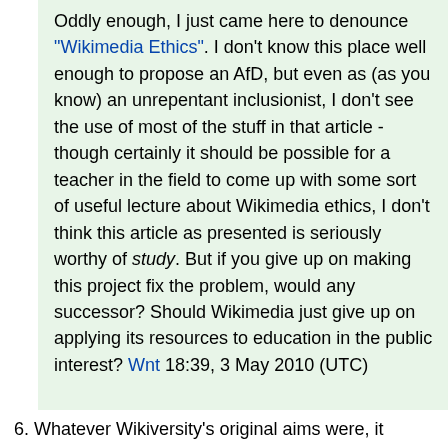Oddly enough, I just came here to denounce "Wikimedia Ethics". I don't know this place well enough to propose an AfD, but even as (as you know) an unrepentant inclusionist, I don't see the use of most of the stuff in that article - though certainly it should be possible for a teacher in the field to come up with some sort of useful lecture about Wikimedia ethics, I don't think this article as presented is seriously worthy of study. But if you give up on making this project fix the problem, would any successor? Should Wikimedia just give up on applying its resources to education in the public interest? Wnt 18:39, 3 May 2010 (UTC)
6. Whatever Wikiversity's original aims were, it